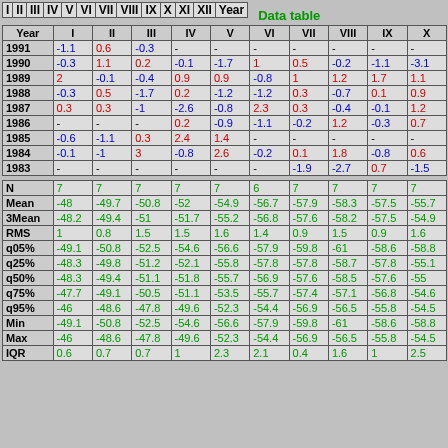| I | II | III | IV | V | VI | VII | VIII | IX | X | XI | XII | Year |
| --- | --- | --- | --- | --- | --- | --- | --- | --- | --- | --- | --- | --- |
Data table
| Year | I | II | III | IV | V | VI | VII | VIII | IX | X |
| --- | --- | --- | --- | --- | --- | --- | --- | --- | --- | --- |
| 1991 | -1.1 | 0.6 | -0.3 | - | - | - | - | - | - | - |
| 1990 | -0.3 | 1.1 | 0.2 | -0.1 | -1.7 | 1 | 0.5 | -0.2 | -1.1 | -3.1 |
| 1989 | 2 | -0.1 | -0.4 | 0.9 | 0.9 | -0.8 | 1 | 1.2 | 1.7 | 1.1 |
| 1988 | -0.3 | 0.5 | -1.7 | 0.2 | -1.2 | -1.2 | 0.3 | -0.7 | 0.1 | 0.9 |
| 1987 | 0.3 | 0.3 | -1 | -2.6 | -0.8 | 2.3 | 0.3 | -0.4 | -0.1 | 1.2 |
| 1986 | - | - | - | 0.2 | -0.9 | -1.1 | -0.2 | 1.2 | -0.3 | 0.7 |
| 1985 | -0.6 | -1.1 | 0.3 | 2.4 | 1.4 | - | - | - | - | - |
| 1984 | -0.1 | -1 | 3 | -0.8 | 2.6 | -0.2 | 0.1 | 1.8 | -0.8 | 0.6 |
| 1983 | - | - | - | - | - | - | -1.9 | -2.7 | 0.7 | -1.5 |
| N | 7 | 7 | 7 | 7 | 7 | 6 | 7 | 7 | 7 | 7 |
| Mean | -48 | -49.7 | -50.8 | -52 | -54.9 | -56.7 | -57.9 | -58.3 | -57.5 | -55.7 |
| 3Mean | -48.2 | -49.4 | -51 | -51.7 | -55.2 | -56.8 | -57.6 | -58.2 | -57.5 | -54.9 |
| RMS | 1 | 0.8 | 1.5 | 1.5 | 1.6 | 1.4 | 0.9 | 1.5 | 0.9 | 1.6 |
| q05% | -49.1 | -50.8 | -52.5 | -54.6 | -56.6 | -57.9 | -59.8 | -61 | -58.6 | -58.8 |
| q25% | -48.3 | -49.8 | -51.2 | -52.1 | -55.8 | -57.8 | -57.8 | -58.7 | -57.8 | -55.1 |
| q50% | -48.3 | -49.4 | -51.1 | -51.8 | -55.7 | -56.9 | -57.6 | -58.5 | -57.6 | -55 |
| q75% | -47.7 | -49.1 | -50.5 | -51.1 | -53.5 | -55.7 | -57.4 | -57.1 | -56.8 | -54.6 |
| q95% | -46 | -48.6 | -47.8 | -49.6 | -52.3 | -54.4 | -56.9 | -56.5 | -55.8 | -54.5 |
| Min | -49.1 | -50.8 | -52.5 | -54.6 | -56.6 | -57.9 | -59.8 | -61 | -58.6 | -58.8 |
| Max | -46 | -48.6 | -47.8 | -49.6 | -52.3 | -54.4 | -56.9 | -56.5 | -55.8 | -54.5 |
| IQR | 0.6 | 0.7 | 0.7 | 1 | 2.3 | 2.1 | 0.4 | 1.6 | 1 | 2.5 |